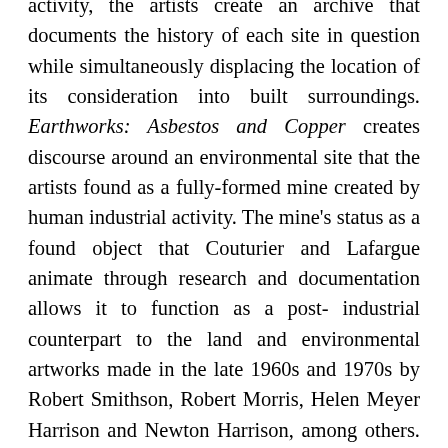activity, the artists create an archive that documents the history of each site in question while simultaneously displacing the location of its consideration into built surroundings. Earthworks: Asbestos and Copper creates discourse around an environmental site that the artists found as a fully-formed mine created by human industrial activity. The mine's status as a found object that Couturier and Lafargue animate through research and documentation allows it to function as a post-industrial counterpart to the land and environmental artworks made in the late 1960s and 1970s by Robert Smithson, Robert Morris, Helen Meyer Harrison and Newton Harrison, among others. To the extent that their project creates discourse around an environmental site that was created by past activity, Couturier Lafargue's work operates as a performative investigation into found earthworks. Through the presentation of disparate images in a variety of media,